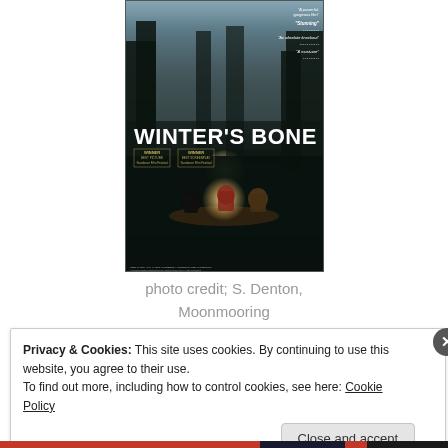[Figure (photo): Movie poster for Winter's Bone showing people in a boat on dark water at night with a glowing light, dark forest background, review quotes top right, winner badges from Sundance Film Festival]
photo credit; S. Denton,
Moonmooring
Privacy & Cookies: This site uses cookies. By continuing to use this website, you agree to their use.
To find out more, including how to control cookies, see here: Cookie Policy
Close and accept